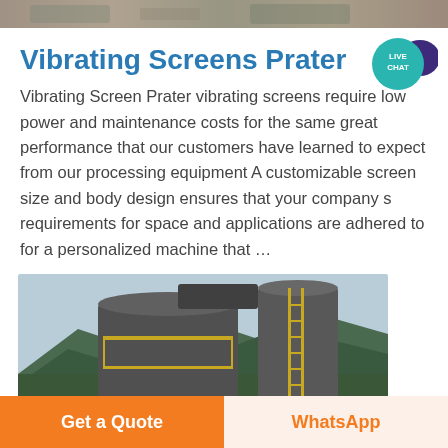[Figure (photo): Top partial image strip of an outdoor industrial/landscape scene]
Vibrating Screens Prater
[Figure (other): Live chat badge with teal circle and speech bubble icon]
Vibrating Screen Prater vibrating screens require low power and maintenance costs for the same great performance that our customers have learned to expect from our processing equipment A customizable screen size and body design ensures that your company s requirements for space and applications are adhered to for a personalized machine that …
[Figure (photo): Industrial equipment photo showing large cylindrical tanks or silos with metal ladders and railings, mountains and trees in background]
Get a Quote    WhatsApp